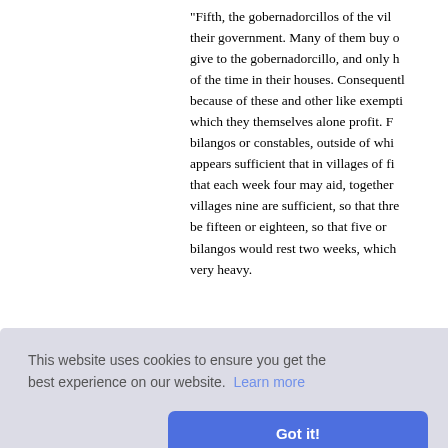"Fifth, the gobernadorcillos of the villages abuse their government. Many of them buy offices, and give to the gobernadorcillo, and only he spends most of the time in their houses. Consequently, because of these and other like exemptions, which they themselves alone profit. For bilangos or constables, outside of which it appears sufficient that in villages of fifty that each week four may aid, together with villages nine are sufficient, so that three... be fifteen or eighteen, so that five or six bilangos would rest two weeks, which is very heavy.
...utes, the ...re tribute ...that were ...ney ought ...and in other... and fifty-five from another, and it amou...
[Figure (screenshot): Cookie consent banner with light gray background. Text reads: 'This website uses cookies to ensure you get the best experience on our website. Learn more' with a blue 'Got it!' button.]